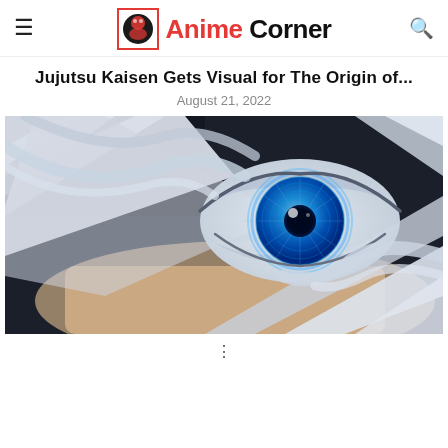Anime Corner
Jujutsu Kaisen Gets Visual for The Origin of...
August 21, 2022
[Figure (illustration): Close-up anime illustration of a character's eye with glowing blue iris, surrounded by white bandages or hair strands against a dark background. From Jujutsu Kaisen.]